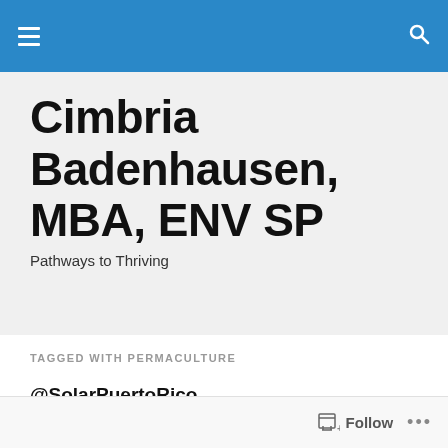Navigation bar with hamburger menu and search icon
Cimbria Badenhausen, MBA, ENV SP
Pathways to Thriving
TAGGED WITH PERMACULTURE
@SolarPuertoRico
[Figure (illustration): Puerto Rico flag with a solar sun graphic in the center containing the text '¡Vamos a Hacerlo!']
Follow ...